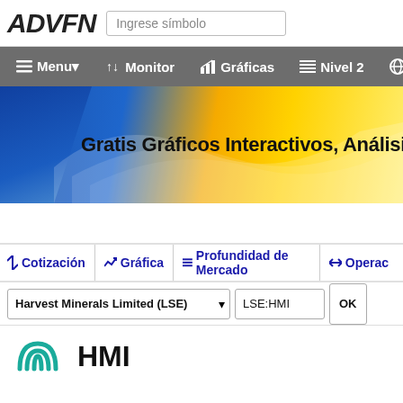ADVFN | Ingrese símbolo
[Figure (screenshot): ADVFN navigation bar with Menu, Monitor, Gráficas, Nivel 2, Mun options on grey background]
[Figure (infographic): Gold and blue banner with text: Gratis Gráficos Interactivos, Análisis Técn...]
Cotización | Gráfica | Profundidad de Mercado | Operac...
Harvest Minerals Limited (LSE) | LSE:HMI | OK
HMI